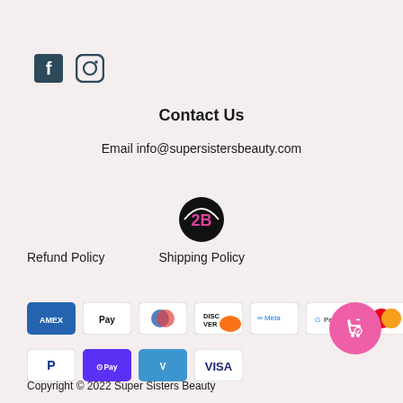[Figure (logo): Facebook and Instagram social media icons]
Contact Us
Email info@supersistersbeauty.com
[Figure (logo): Super Sisters Beauty circular logo with 2B text]
Refund Policy
Shipping Policy
[Figure (logo): Payment method icons: AMEX, Apple Pay, Diners Club, Discover, Meta Pay, Google Pay, Mastercard, PayPal, Shop Pay, Venmo, Visa]
Copyright © 2022 Super Sisters Beauty